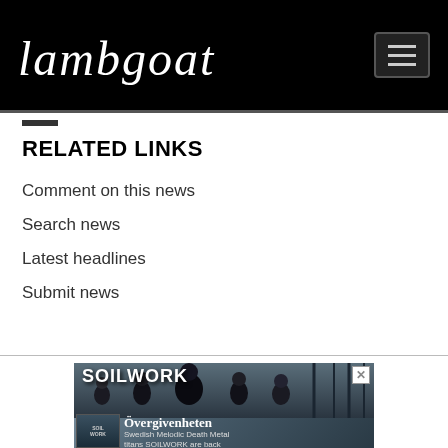Lambgoat
RELATED LINKS
Comment on this news
Search news
Latest headlines
Submit news
[Figure (photo): Soilwork band advertisement showing the band members in dark clothing against a wintry background, with album 'Övergivenheten' and text 'Swedish Melodic Death Metal titans SOILWORK are back']